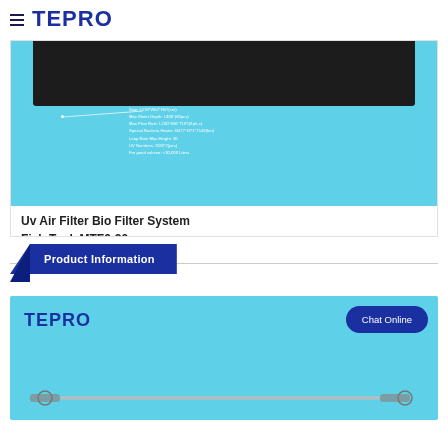TEPRO
[Figure (photo): Product photo of UV Air Filter Bio Filter System Fish Tank MTF6-20, showing a cyan/light-blue background with a dark black top panel and product specification text overlay]
Uv Air Filter Bio Filter System Fish Tank MTF6-20
Product Information
[Figure (photo): TEPRO branded product banner with cyan background, TEPRO logo on left, Chat Online button on right, and UV lamp image at bottom]